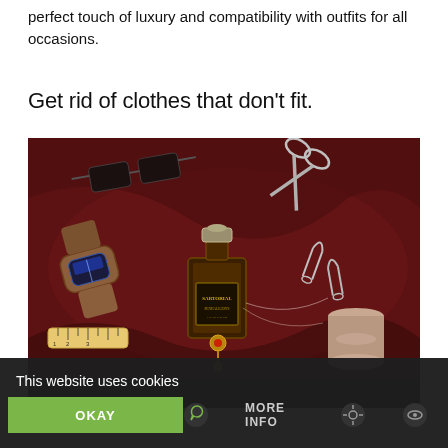perfect touch of luxury and compatibility with outfits for all occasions.
Get rid of clothes that don't fit.
[Figure (photo): Flatlay photo on dark red/maroon fabric showing sartorial/tailoring accessories: scissors, a perfume bottle labeled SARTORIAL, a leather watch strap, safety pins, thread spool, cufflinks, tailor's tape measure, and sunglasses.]
This website uses cookies
OKAY
MORE INFO